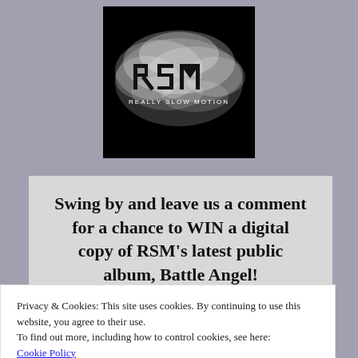[Figure (logo): Really Slow Motion (RSM) logo — white smoky cloud design on black background with stylized RSM letters and text 'REALLY SLOW MOTION' below]
Swing by and leave us a comment for a chance to WIN a digital copy of RSM's latest public album, Battle Angel!
Privacy & Cookies: This site uses cookies. By continuing to use this website, you agree to their use.
To find out more, including how to control cookies, see here:
Cookie Policy
Close and accept